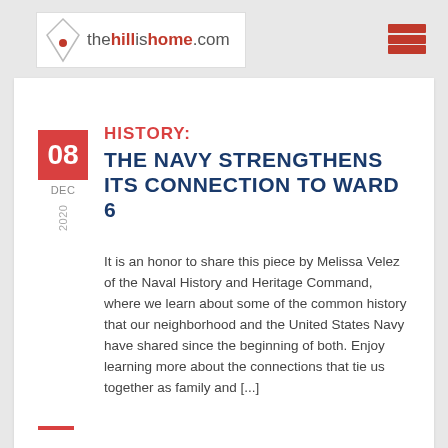thehillishome.com
HISTORY:
THE NAVY STRENGTHENS ITS CONNECTION TO WARD 6
It is an honor to share this piece by Melissa Velez of the Naval History and Heritage Command, where we learn about some of the common history that our neighborhood and the United States Navy have shared since the beginning of both. Enjoy learning more about the connections that tie us together as family and [...]